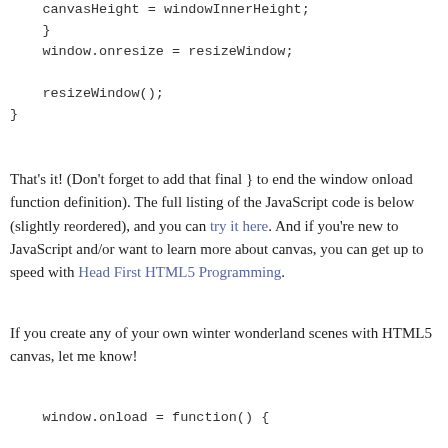canvasHeight = windowInnerHeight;
    }
    window.onresize = resizeWindow;

    resizeWindow();
}
That's it! (Don't forget to add that final } to end the window onload function definition). The full listing of the JavaScript code is below (slightly reordered), and you can try it here. And if you're new to JavaScript and/or want to learn more about canvas, you can get up to speed with Head First HTML5 Programming.
If you create any of your own winter wonderland scenes with HTML5 canvas, let me know!
window.onload = function() {